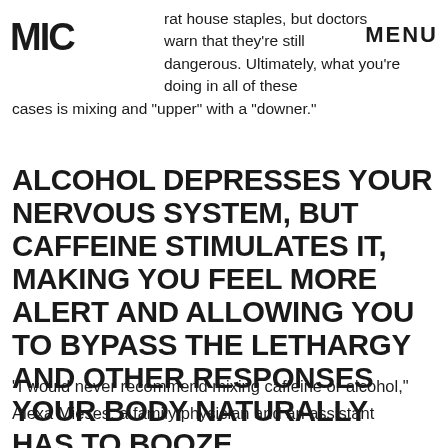MIC | MENU
rat house staples, but doctors warn that they're still dangerous. Ultimately, what you're doing in all of these cases is mixing and "upper" with a "downer."
ALCOHOL DEPRESSES YOUR NERVOUS SYSTEM, BUT CAFFEINE STIMULATES IT, MAKING YOU FEEL MORE ALERT AND ALLOWING YOU TO BYPASS THE LETHARGY AND OTHER RESPONSES YOUR BODY NATURALLY HAS TO BOOZE.
“I would never recommend mixing caffeine or alcohol,” Alexa Mieses, a family physician and an assistant